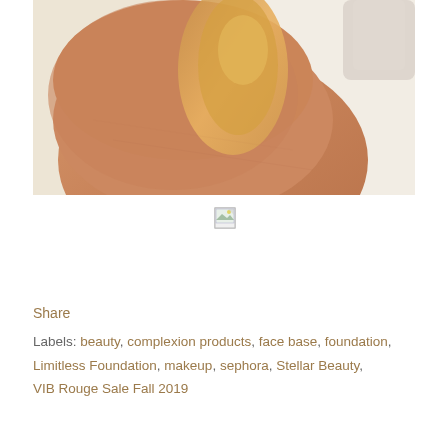[Figure (photo): Close-up photo of a forearm/wrist area with a golden/bronze shimmer makeup swatch applied on skin, with a bottle partially visible in the upper right corner]
[Figure (other): Small broken image placeholder icon]
Share
Labels: beauty, complexion products, face base, foundation, Limitless Foundation, makeup, sephora, Stellar Beauty, VIB Rouge Sale Fall 2019